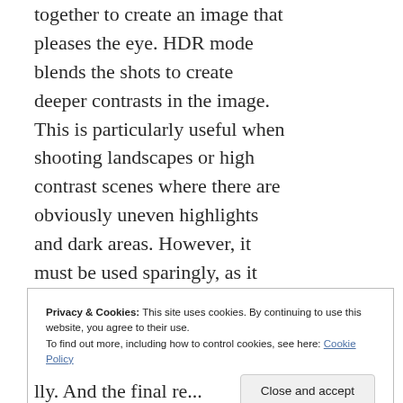together to create an image that pleases the eye. HDR mode blends the shots to create deeper contrasts in the image. This is particularly useful when shooting landscapes or high contrast scenes where there are obviously uneven highlights and dark areas. However, it must be used sparingly, as it can leave your images looking odd and overly edited. Don’t overuse it – try to work the editor so that your eye sees reality in the results. Trust your eye.
•
Privacy & Cookies: This site uses cookies. By continuing to use this website, you agree to their use.
To find out more, including how to control cookies, see here: Cookie Policy
Close and accept
lly. And the final re...